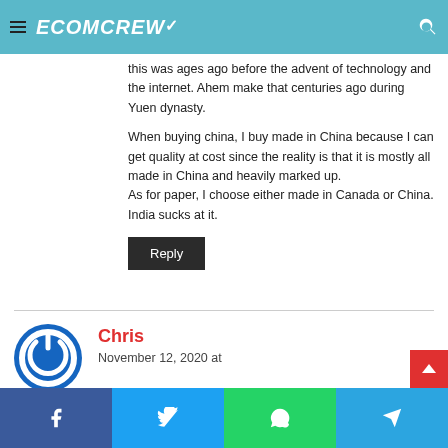ECOMCREW
this was ages ago before the advent of technology and the internet. Ahem make that centuries ago during Yuen dynasty.

When buying china, I buy made in China because I can get quality at cost since the reality is that it is mostly all made in China and heavily marked up.
As for paper, I choose either made in Canada or China. India sucks at it.
Reply
Chris
November 12, 2020 at